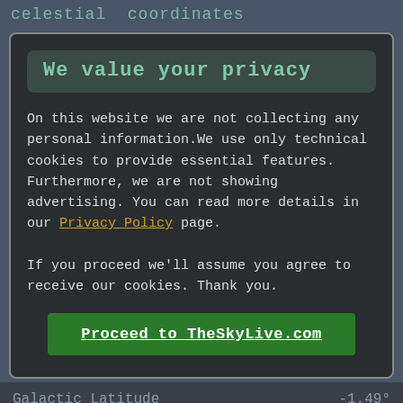celestial coordinates
We value your privacy
On this website we are not collecting any personal information.We use only technical cookies to provide essential features. Furthermore, we are not showing advertising. You can read more details in our Privacy Policy page.
If you proceed we'll assume you agree to receive our cookies. Thank you.
Proceed to TheSkyLive.com
Galactic Latitude  -1.49°